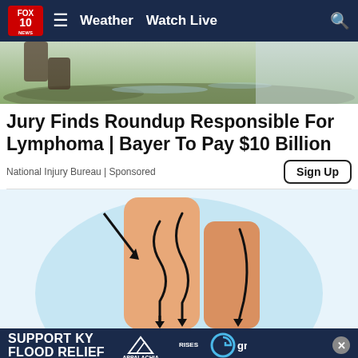FOX 10 NEWS | Weather | Watch Live
[Figure (photo): Outdoor image showing wet greenery and muddy ground, partially visible at top of page]
Jury Finds Roundup Responsible For Lymphoma | Bayer To Pay $10 Billion
National Injury Bureau | Sponsored
[Figure (illustration): Medical illustration showing a leg/knee with arrows indicating pain points, on a light blue circular background]
SUPPORT KY FLOOD RELIEF — APPALACHIA RISES — gray